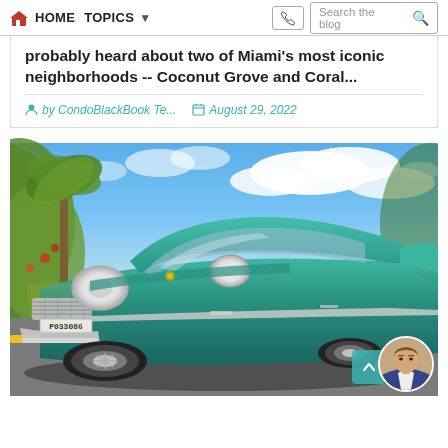HOME  TOPICS  Search the blog
probably heard about two of Miami's most iconic neighborhoods -- Coconut Grove and Coral...
by CondoBlackBook Te...   August 29, 2022
[Figure (photo): Vintage teal classic American car (late 1950s Chevrolet Bel Air style) with chrome grille and license plate P033086, photographed from low angle in front of tropical foliage and blue cloudy sky, Miami setting]